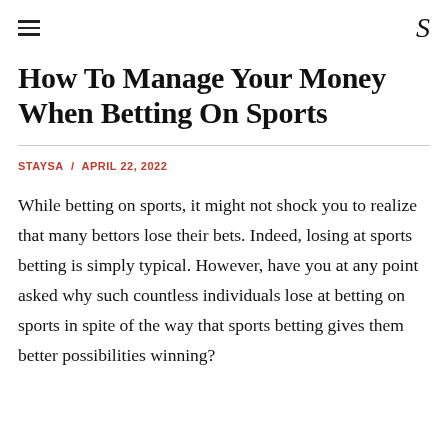≡   S
How To Manage Your Money When Betting On Sports
STAYSA / APRIL 22, 2022
While betting on sports, it might not shock you to realize that many bettors lose their bets. Indeed, losing at sports betting is simply typical. However, have you at any point asked why such countless individuals lose at betting on sports in spite of the way that sports betting gives them better possibilities winning?